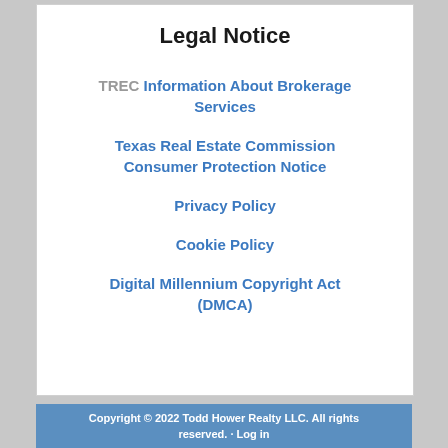Legal Notice
TREC Information About Brokerage Services
Texas Real Estate Commission Consumer Protection Notice
Privacy Policy
Cookie Policy
Digital Millennium Copyright Act (DMCA)
Copyright © 2022 Todd Hower Realty LLC. All rights reserved. · Log in